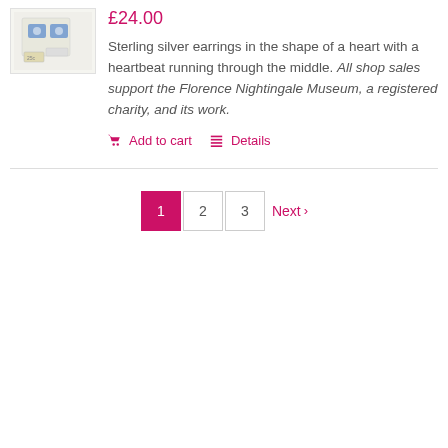[Figure (photo): Product image of sterling silver heart earrings in packaging]
£24.00
Sterling silver earrings in the shape of a heart with a heartbeat running through the middle. All shop sales support the Florence Nightingale Museum, a registered charity, and its work.
Add to cart   Details
1  2  3  Next